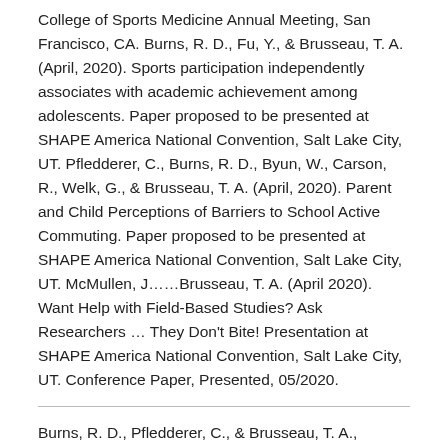College of Sports Medicine Annual Meeting, San Francisco, CA. Burns, R. D., Fu, Y., & Brusseau, T. A. (April, 2020). Sports participation independently associates with academic achievement among adolescents. Paper proposed to be presented at SHAPE America National Convention, Salt Lake City, UT. Pfledderer, C., Burns, R. D., Byun, W., Carson, R., Welk, G., & Brusseau, T. A. (April, 2020). Parent and Child Perceptions of Barriers to School Active Commuting. Paper proposed to be presented at SHAPE America National Convention, Salt Lake City, UT. McMullen, J……Brusseau, T. A. (April 2020). Want Help with Field-Based Studies? Ask Researchers … They Don't Bite! Presentation at SHAPE America National Convention, Salt Lake City, UT. Conference Paper, Presented, 05/2020.
Burns, R. D., Pfledderer, C., & Brusseau, T. A., (November, 2019). Home sedentary behavior and active transport, not device-use, associates with self-reported physical activity